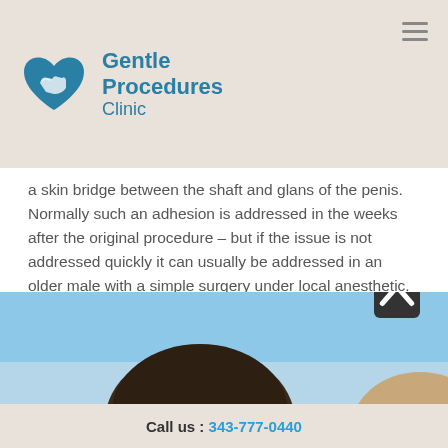Gentle Procedures Clinic
a skin bridge between the shaft and glans of the penis. Normally such an adhesion is addressed in the weeks after the original procedure – but if the issue is not addressed quickly it can usually be addressed in an older male with a simple surgery under local anesthetic.
Penile skin bridge removal is one of the more common types of circumcision revision performed by our doctors.
Too Much Foreskin Removed
[Figure (photo): Photo of a person's head viewed from behind against a blue sky background]
Call us : 343-777-0440